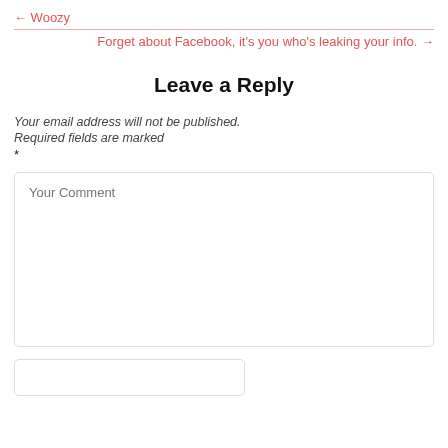← Woozy
Forget about Facebook, it's you who's leaking your info. →
Leave a Reply
Your email address will not be published.
Required fields are marked
*
[Figure (other): Your Comment textarea input field]
[Figure (other): Name input field (partial, cut off at bottom)]